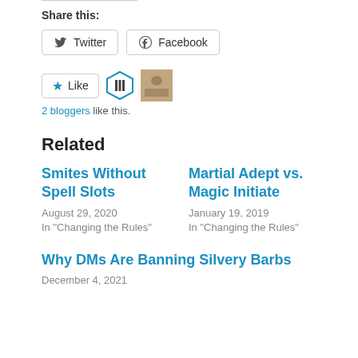Share this:
Twitter   Facebook
[Figure (other): Like button with star icon, hexagon avatar icon, and photo avatar thumbnail. '2 bloggers like this.' text below.]
Related
Smites Without Spell Slots
August 29, 2020
In "Changing the Rules"
Martial Adept vs. Magic Initiate
January 19, 2019
In "Changing the Rules"
Why DMs Are Banning Silvery Barbs
December 4, 2021